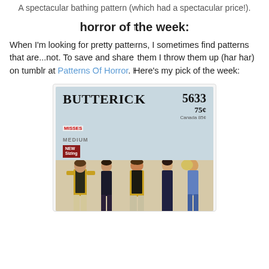A spectacular bathing pattern (which had a spectacular price!).
horror of the week:
When I'm looking for pretty patterns, I sometimes find patterns that are...not. To save and share them I throw them up (har har) on tumblr at Patterns Of Horror. Here's my pick of the week:
[Figure (photo): Vintage Butterick 5633 sewing pattern cover showing a man and two women in 1970s fashion. The man wears a yellow shirt with a dark vest and light pants. The women wear coordinating outfits. Pattern details: MEDIUM size, 75c price, Canada 85c, NEW Sizing label.]